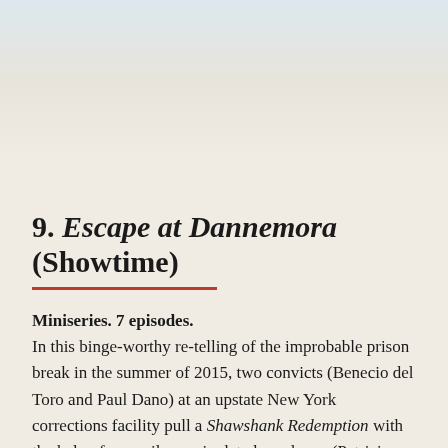9. Escape at Dannemora (Showtime)
Miniseries. 7 episodes. In this binge-worthy re-telling of the improbable prison break in the summer of 2015, two convicts (Benecio del Toro and Paul Dano) at an upstate New York corrections facility pull a Shawshank Redemption with the help of an easily manipulated employee (Patricia Arquette, who will win every